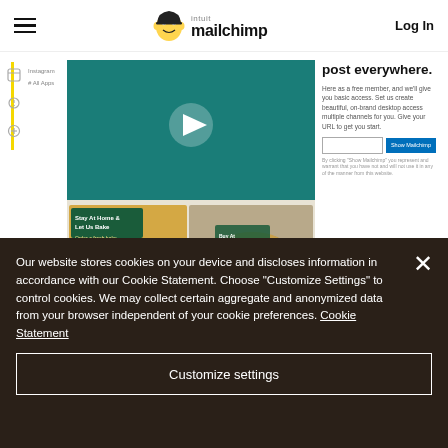intuit mailchimp — Log In
[Figure (screenshot): Mailchimp website screenshot showing a bakery marketing campaign with teal and kraft paper design, video play button, and social media post previews]
post everywhere.
Here as a free member, and we'll give you basic access. Set us create beautiful, on-brand desktop access multiple channels for you. Give your URL to get you start.
Access the content studio
Our website stores cookies on your device and discloses information in accordance with our Cookie Statement. Choose "Customize Settings" to control cookies. We may collect certain aggregate and anonymized data from your browser independent of your cookie preferences. Cookie Statement
Customize settings